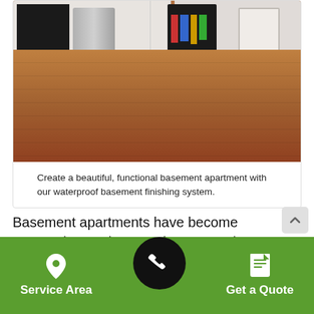[Figure (photo): Interior photo of a finished basement apartment showing hardwood laminate flooring, stainless steel refrigerator on the left, a black bookshelf with colorful books in the center-left background, a white pillar, a black air purifier/humidifier, and a white door on the right. Light gray walls visible.]
Create a beautiful, functional basement apartment with our waterproof basement finishing system.
Basement apartments have become extremely popular over the years. They are a great way to increase your living space and home value. Our experts at DBC Remodeling & Construction can create a basement apartment that is designed to meet your specific needs.